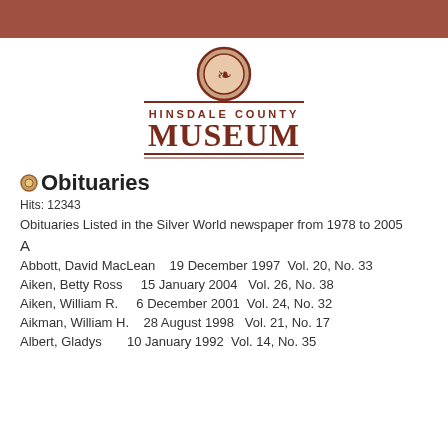[Figure (logo): Hinsdale County Museum logo with ornamental circle emblem above text reading HINSDALE COUNTY MUSEUM with horizontal rules]
Obituaries
Hits: 12343
Obituaries Listed in the Silver World newspaper from 1978 to 2005
A
Abbott, David MacLean    19 December 1997  Vol. 20, No. 33
Aiken, Betty Ross      15 January 2004   Vol. 26, No. 38
Aiken, William R.      6 December 2001  Vol. 24, No. 32
Aikman, William H.     28 August 1998   Vol. 21, No. 17
Albert, Gladys         10 January 1992  Vol. 14, No. 35